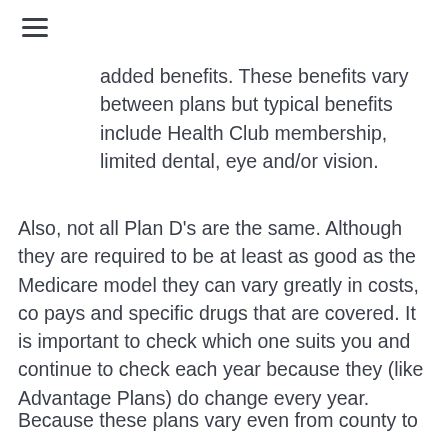≡
added benefits. These benefits vary between plans but typical benefits include Health Club membership, limited dental, eye and/or vision.
Also, not all Plan D's are the same. Although they are required to be at least as good as the Medicare model they can vary greatly in costs, co pays and specific drugs that are covered. It is important to check which one suits you and continue to check each year because they (like Advantage Plans) do change every year.
Because these plans vary even from county to